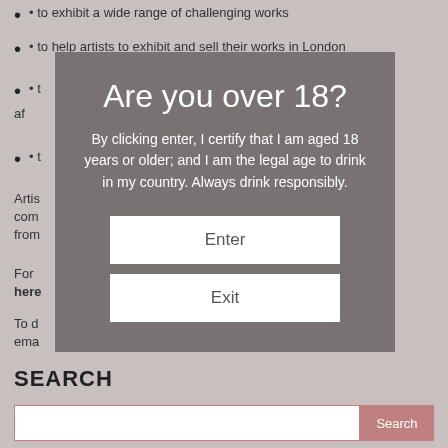• to exhibit a wide range of challenging works
• to help artists to exhibit and sell their works in London
• t...
• t...
Artis... com... from...
For... here...
To d... ema...
[Figure (screenshot): Age verification modal dialog with dark grey background. Title: 'Are you over 18?' Body text: 'By clicking enter, I certify that I am aged 18 years or older; and I am the legal age to drink in my country. Always drink responsibly.' Two buttons: 'Enter' and 'Exit'.]
SEARCH
Search input bar with Search button